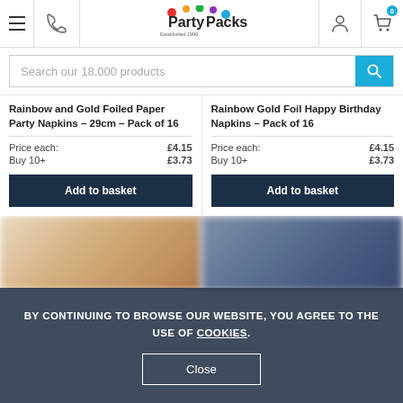PartyPacks — Established 1999
Search our 18,000 products
Rainbow and Gold Foiled Paper Party Napkins – 29cm – Pack of 16
Price each: £4.15
Buy 10+ £3.73
Add to basket
Rainbow Gold Foil Happy Birthday Napkins – Pack of 16
Price each: £4.15
Buy 10+ £3.73
Add to basket
BY CONTINUING TO BROWSE OUR WEBSITE, YOU AGREE TO THE USE OF COOKIES.
Close